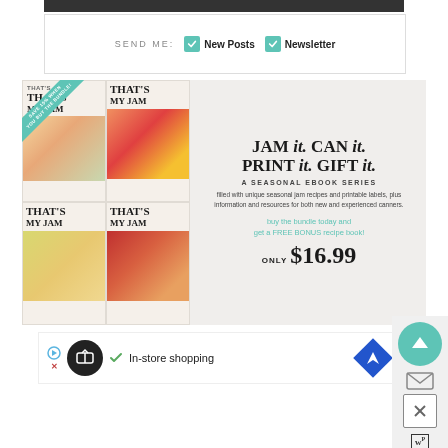[Figure (screenshot): Dark top bar element]
SEND ME: ✓ New Posts ✓ Newsletter
[Figure (illustration): That's My Jam ebook bundle advertisement. Shows 4 cookbook covers in a grid with fruits and jam jars. Teal ribbon says SAVE 15% WHEN YOU BUY THE BUNDLE! Text reads: JAM it. CAN it. PRINT it. GIFT it. A SEASONAL EBOOK SERIES filled with unique seasonal jam recipes and printable labels, plus information and resources for both new and experienced canners. buy the bundle today and get a FREE BONUS recipe book! ONLY $16.99]
[Figure (screenshot): Bottom advertisement banner with In-store shopping text, navigation icon, and side panel with up arrow, X close button, and WP badge]